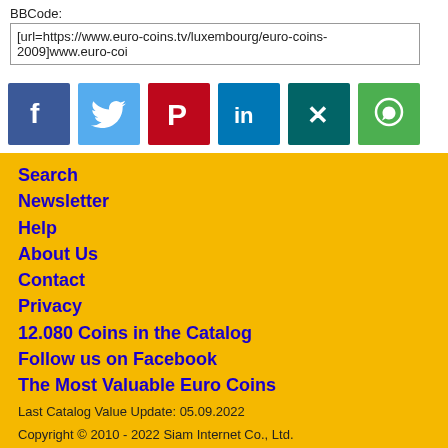BBCode:
[url=https://www.euro-coins.tv/luxembourg/euro-coins-2009]www.euro-coi
[Figure (infographic): Social media share icons: Facebook, Twitter, Pinterest, LinkedIn, Xing, WhatsApp]
Search
Newsletter
Help
About Us
Contact
Privacy
12.080 Coins in the Catalog
Follow us on Facebook
The Most Valuable Euro Coins
Last Catalog Value Update: 05.09.2022
Copyright © 2010 - 2022 Siam Internet Co., Ltd.